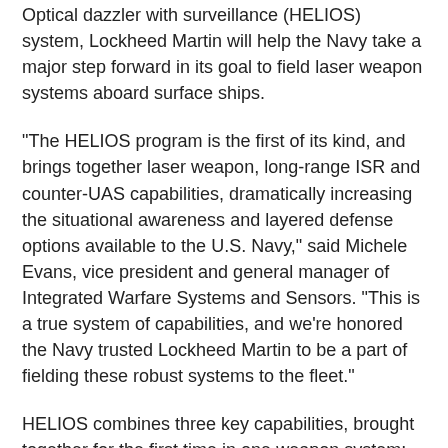Optical dazzler with surveillance (HELIOS) system, Lockheed Martin will help the Navy take a major step forward in its goal to field laser weapon systems aboard surface ships.
"The HELIOS program is the first of its kind, and brings together laser weapon, long-range ISR and counter-UAS capabilities, dramatically increasing the situational awareness and layered defense options available to the U.S. Navy," said Michele Evans, vice president and general manager of Integrated Warfare Systems and Sensors. "This is a true system of capabilities, and we're honored the Navy trusted Lockheed Martin to be a part of fielding these robust systems to the fleet."
HELIOS combines three key capabilities, brought together for the first time in one weapon system:
A high-energy laser system: The high-energy fiber laser will be designed to counter unmanned aerial systems and small boats. The energy and thermal management system will leverage